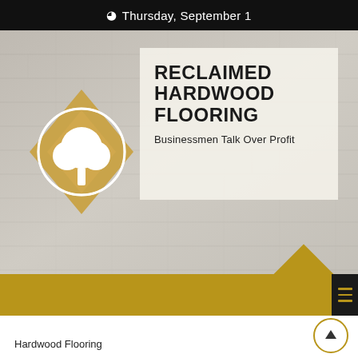Thursday, September 1
[Figure (photo): Background photo of light-colored hardwood flooring planks arranged diagonally]
RECLAIMED HARDWOOD FLOORING
Businessmen Talk Over Profit
[Figure (logo): Diamond-shaped logo with circle and tree icon inside, gold and white color scheme]
Hardwood Flooring